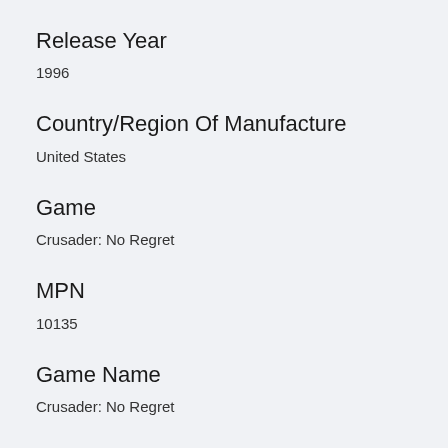Release Year
1996
Country/Region Of Manufacture
United States
Game
Crusader: No Regret
MPN
10135
Game Name
Crusader: No Regret
Features